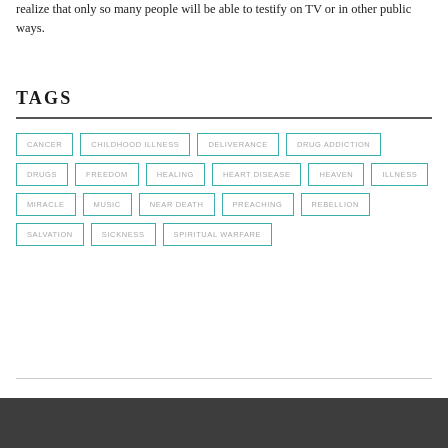realize that only so many people will be able to testify on TV or in other public ways.
TAGS
CANCER
CHILDHOOD ILLNESS
DELIVERANCE
DRUG ADDICTION
DRUGS
FREEDOM
HEALING
HEART DISEASE
HEAVEN
ILLNESS
MIRACLE
MUSIC
NEAR DEATH
PREACHING
REBELLION
SALVATION
SICKNESS
SPIRITUAL WARFARE